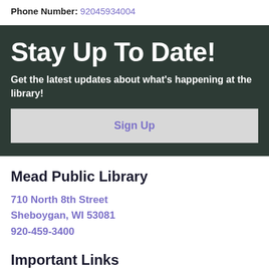Phone Number: 92045934004
Stay Up To Date!
Get the latest updates about what's happening at the library!
Sign Up
Mead Public Library
710 North 8th Street
Sheboygan, WI 53081
920-459-3400
Important Links